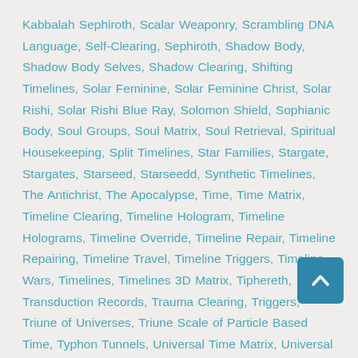Kabbalah Sephiroth, Scalar Weaponry, Scrambling DNA Language, Self-Clearing, Sephiroth, Shadow Body, Shadow Body Selves, Shadow Clearing, Shifting Timelines, Solar Feminine, Solar Feminine Christ, Solar Rishi, Solar Rishi Blue Ray, Solomon Shield, Sophianic Body, Soul Groups, Soul Matrix, Soul Retrieval, Spiritual Housekeeping, Split Timelines, Star Families, Stargate, Stargates, Starseed, Starseedd, Synthetic Timelines, The Antichrist, The Apocalypse, Time, Time Matrix, Timeline Clearing, Timeline Hologram, Timeline Holograms, Timeline Override, Timeline Repair, Timeline Repairing, Timeline Travel, Timeline Triggers, Timeline Wars, Timelines, Timelines 3D Matrix, Tiphereth, Transduction Records, Trauma Clearing, Triggers, Triune of Universes, Triune Scale of Particle Based Time, Typhon Tunnels, Universal Time Matrix, Universal Tree of Life, War, War on Consciousness, War on Humanity, War Over Consciousness, War over Humanity, Weaponry, Wesa Dark Avatar Collectives, Wesa Fallen System, Wesadak System, Wesadrak System, World, Yahweh Matrix, Yahweh-Jehovian False Father
[Figure (other): Scroll-to-top button: dark teal rounded square with upward arrow icon]